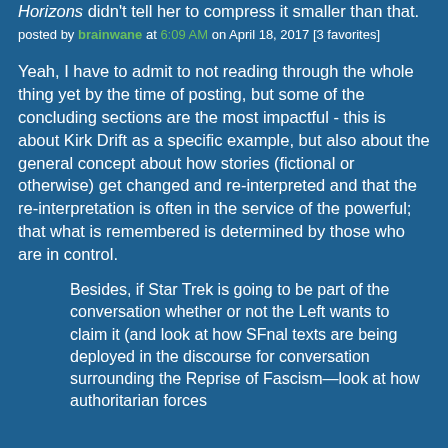Horizons didn't tell her to compress it smaller than that.
posted by brainwane at 6:09 AM on April 18, 2017 [3 favorites]
Yeah, I have to admit to not reading through the whole thing yet by the time of posting, but some of the concluding sections are the most impactful - this is about Kirk Drift as a specific example, but also about the general concept about how stories (fictional or otherwise) get changed and re-interpreted and that the re-interpretation is often in the service of the powerful; that what is remembered is determined by those who are in control.
Besides, if Star Trek is going to be part of the conversation whether or not the Left wants to claim it (and look at how SFnal texts are being deployed in the discourse for conversation surrounding the Reprise of Fascism—look at how authoritarian forces